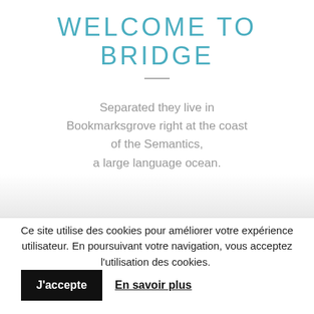WELCOME TO BRIDGE
Separated they live in Bookmarksgrove right at the coast of the Semantics, a large language ocean.
Ce site utilise des cookies pour améliorer votre expérience utilisateur. En poursuivant votre navigation, vous acceptez l'utilisation des cookies. J'accepte En savoir plus